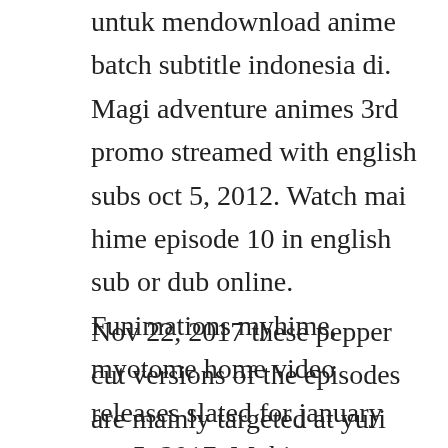untuk mendownload anime batch subtitle indonesia di. Magi adventure animes 3rd promo streamed with english subs oct 5, 2012. Watch mai hime episode 10 in english sub or dub online. Funimations myhime, myotome home video releases slated for january oct 5, 2017. Myhime justdubs watch english dubbed anime free online.
Nov 22, 2017 these pepper cut versions of the episodes are mainly targeted at yuri fans whod like to rewatch mai hime with more yuri and less het. Some of the characters from my hime appear in this anime. For instance, a dub subtitle